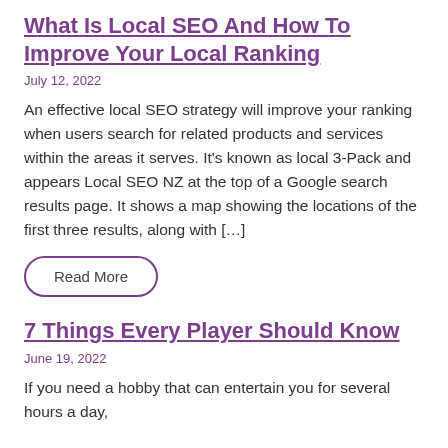What Is Local SEO And How To Improve Your Local Ranking
July 12, 2022
An effective local SEO strategy will improve your ranking when users search for related products and services within the areas it serves. It's known as local 3-Pack and appears Local SEO NZ at the top of a Google search results page. It shows a map showing the locations of the first three results, along with […]
Read More
7 Things Every Player Should Know
June 19, 2022
If you need a hobby that can entertain you for several hours a day,